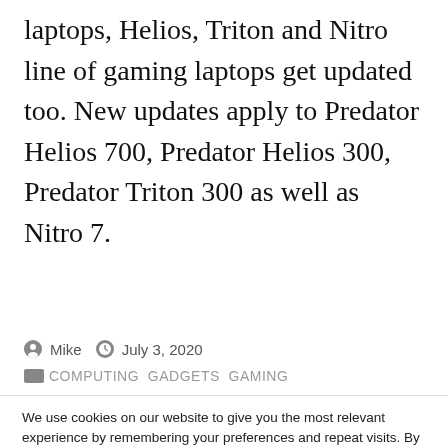laptops, Helios, Triton and Nitro line of gaming laptops get updated too. New updates apply to Predator Helios 700, Predator Helios 300, Predator Triton 300 as well as Nitro 7.
Mike   July 3, 2020
COMPUTING  GADGETS  GAMING
We use cookies on our website to give you the most relevant experience by remembering your preferences and repeat visits. By clicking “Accept”, you consent to the use of ALL the cookies. Do not sell my personal information.